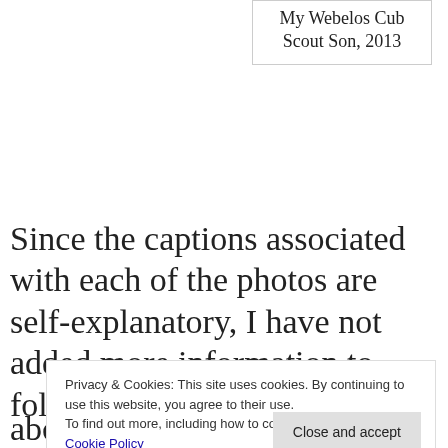My Webelos Cub Scout Son, 2013
Since the captions associated with each of the photos are self-explanatory, I have not added more information to follow each one in this post.
Privacy & Cookies: This site uses cookies. By continuing to use this website, you agree to their use. To find out more, including how to control cookies, see here: Cookie Policy
about my family heritage!